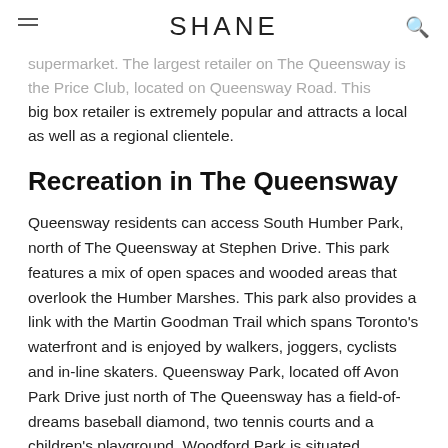SHANE
supermarket. The largest retailer on The Queensway is the Price Club, located on Queensway Road. This big box retailer is extremely popular and attracts a local as well as a regional clientele.
Recreation in The Queensway
Queensway residents can access South Humber Park, north of The Queensway at Stephen Drive. This park features a mix of open spaces and wooded areas that overlook the Humber Marshes. This park also provides a link with the Martin Goodman Trail which spans Toronto's waterfront and is enjoyed by walkers, joggers, cyclists and in-line skaters. Queensway Park, located off Avon Park Drive just north of The Queensway has a field-of-dreams baseball diamond, two tennis courts and a children's playground. Woodford Park is situated